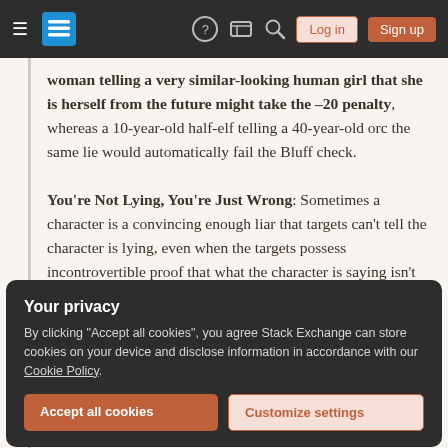[Figure (screenshot): Stack Exchange website navigation bar with hamburger menu, logo, icons (help, chat, search), Log in and Sign up buttons]
woman telling a very similar-looking human girl that she is herself from the future might take the –20 penalty, whereas a 10-year-old half-elf telling a 40-year-old orc the same lie would automatically fail the Bluff check.
You're Not Lying, You're Just Wrong: Sometimes a character is a convincing enough liar that targets can't tell the character is lying, even when the targets possess incontrovertible proof that what the character is saying isn't true,
Your privacy
By clicking "Accept all cookies", you agree Stack Exchange can store cookies on your device and disclose information in accordance with our Cookie Policy.
Accept all cookies  Customize settings
but is simply mistaken.